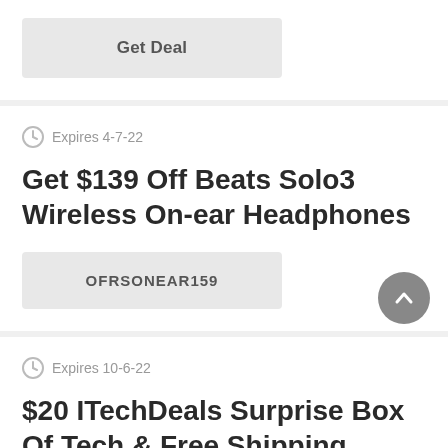[Figure (screenshot): Top card with Get Deal button (partial, top of page)]
Expires 4-7-22
Get $139 Off Beats Solo3 Wireless On-ear Headphones
OFRSONEAR159
Expires 10-6-22
$20 ITechDeals Surprise Box Of Tech & Free Shipping